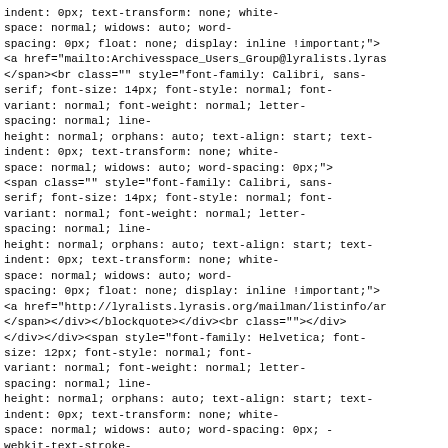indent: 0px; text-transform: none; white-space: normal; widows: auto; word-spacing: 0px; float: none; display: inline !important;"><a href="mailto:Archivesspace_Users_Group@lyralists.lyras</span><br class="" style="font-family: Calibri, sans-serif; font-size: 14px; font-style: normal; font-variant: normal; font-weight: normal; letter-spacing: normal; line-height: normal; orphans: auto; text-align: start; text-indent: 0px; text-transform: none; white-space: normal; widows: auto; word-spacing: 0px;"><span class="" style="font-family: Calibri, sans-serif; font-size: 14px; font-style: normal; font-variant: normal; font-weight: normal; letter-spacing: normal; line-height: normal; orphans: auto; text-align: start; text-indent: 0px; text-transform: none; white-space: normal; widows: auto; word-spacing: 0px; float: none; display: inline !important;"><a href="http://lyralists.lyrasis.org/mailman/listinfo/ar</span></div></blockquote></div><br class=""></div></div></div><span style="font-family: Helvetica; font-size: 12px; font-style: normal; font-variant: normal; font-weight: normal; letter-spacing: normal; line-height: normal; orphans: auto; text-align: start; text-indent: 0px; text-transform: none; white-space: normal; widows: auto; word-spacing: 0px; -webkit-text-stroke-width: 0px; float: none; display: inline !important;" cl